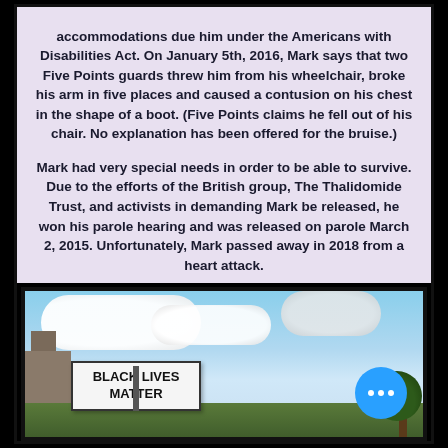accommodations due him under the Americans with Disabilities Act. On January 5th, 2016, Mark says that two Five Points guards threw him from his wheelchair, broke his arm in five places and caused a contusion on his chest in the shape of a boot. (Five Points claims he fell out of his chair. No explanation has been offered for the bruise.)
Mark had very special needs in order to be able to survive. Due to the efforts of the British group, The Thalidomide Trust, and activists in demanding Mark be released, he won his parole hearing and was released on parole March 2, 2015. Unfortunately, Mark passed away in 2018 from a heart attack.
[Figure (photo): Photo of a protest scene with a Black Lives Matter sign held up against a partly cloudy sky, with buildings and trees visible in the background. A blue circular button with three white dots appears in the lower right corner.]